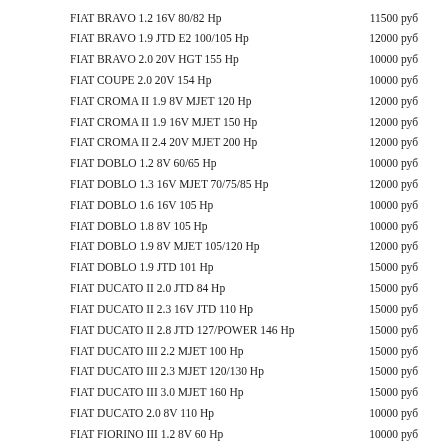FIAT BRAVO 1.2 16V 80/82 Hp — 11500 руб
FIAT BRAVO 1.9 JTD E2 100/105 Hp — 12000 руб
FIAT BRAVO 2.0 20V HGT 155 Hp — 10000 руб
FIAT COUPE 2.0 20V 154 Hp — 10000 руб
FIAT CROMA II 1.9 8V MJET 120 Hp — 12000 руб
FIAT CROMA II 1.9 16V MJET 150 Hp — 12000 руб
FIAT CROMA II 2.4 20V MJET 200 Hp — 12000 руб
FIAT DOBLO 1.2 8V 60/65 Hp — 10000 руб
FIAT DOBLO 1.3 16V MJET 70/75/85 Hp — 12000 руб
FIAT DOBLO 1.6 16V 105 Hp — 10000 руб
FIAT DOBLO 1.8 8V 105 Hp — 10000 руб
FIAT DOBLO 1.9 8V MJET 105/120 Hp — 12000 руб
FIAT DOBLO 1.9 JTD 101 Hp — 15000 руб
FIAT DUCATO II 2.0 JTD 84 Hp — 15000 руб
FIAT DUCATO II 2.3 16V JTD 110 Hp — 15000 руб
FIAT DUCATO II 2.8 JTD 127/POWER 146 Hp — 15000 руб
FIAT DUCATO III 2.2 MJET 100 Hp — 15000 руб
FIAT DUCATO III 2.3 MJET 120/130 Hp — 15000 руб
FIAT DUCATO III 3.0 MJET 160 Hp — 15000 руб
FIAT DUCATO 2.0 8V 110 Hp — 10000 руб
FIAT FIORINO III 1.2 8V 60 Hp — 10000 руб
FIAT FIORINO III 1.3 MJET EURO JTD 75 Hp — 11000 руб